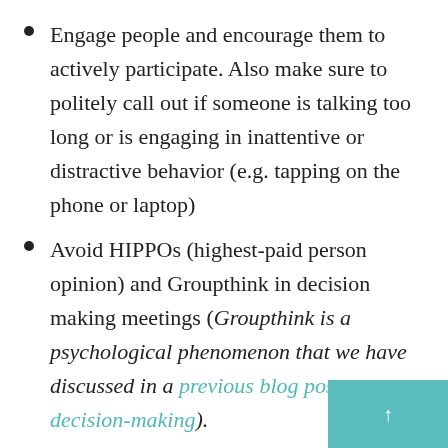Engage people and encourage them to actively participate. Also make sure to politely call out if someone is talking too long or is engaging in inattentive or distractive behavior (e.g. tapping on the phone or laptop)
Avoid HIPPOs (highest-paid person opinion) and Groupthink in decision making meetings (Groupthink is a psychological phenomenon that we have discussed in a previous blog post on decision-making).
Use survey apps or silent individual thinking time to eliminate Groupthink
Find the most optimal solution in decision making with Edward De Bono's Six Th...